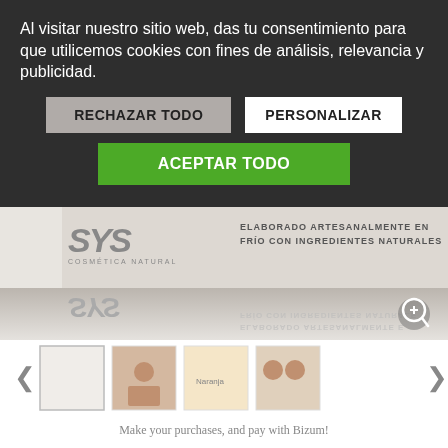Al visitar nuestro sitio web, das tu consentimiento para que utilicemos cookies con fines de análisis, relevancia y publicidad.
RECHAZAR TODO
PERSONALIZAR
ACEPTAR TODO
[Figure (screenshot): Product packaging image for SYS Cosmética Natural, showing text 'ELABORADO ARTESANALMENTE EN FRÍO CON INGREDIENTES NATURALES' with reflection below and zoom icon]
[Figure (screenshot): Four product thumbnails with left/right navigation arrows]
Make your purchases, and pay with Bizum!
Pay Securely
[Figure (logo): Payment logos: Bizum, VISA, PayPal, MasterCard]